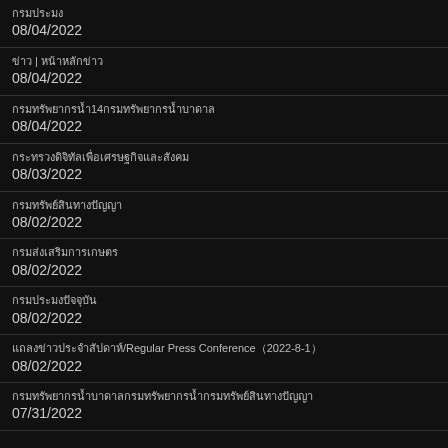กรมประมง
08/04/2022
ข่าว | หน้าหลักข่าว
08/04/2022
กรมทรัพยากรน้ำ14กรมทรัพยากรน้ำบาดาล
08/04/2022
กระทรวงดิจิทัลเพื่อเศรษฐกิจและสังคม
08/03/2022
กรมทรัพย์สินทางปัญญา
08/02/2022
กรมส่งเสริมการเกษตร
08/02/2022
กรมประมงปัจจุบัน
08/02/2022
แถลงข่าวประจำสัปดาห์/Regular Press Conference（2022-8-1）
08/02/2022
กรมทรัพยากรน้ำบาดาลกรมทรัพยากรน้ำกรมทรัพย์สินทางปัญญา
07/31/2022